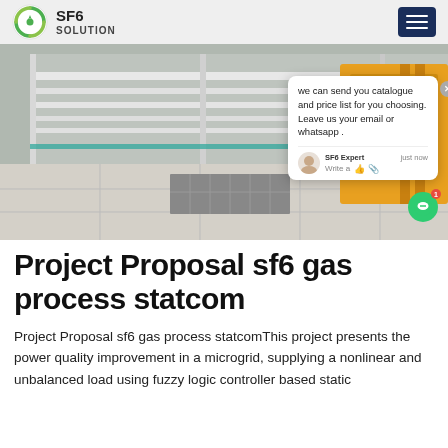SF6 SOLUTION
[Figure (photo): Industrial electrical substation interior with cable trays and yellow vehicle, with a chat popup overlay showing 'we can send you catalogue and price list for you choosing. Leave us your email or whatsapp.']
Project Proposal sf6 gas process statcom
Project Proposal sf6 gas process statcomThis project presents the power quality improvement in a microgrid, supplying a nonlinear and unbalanced load using fuzzy logic controller based static